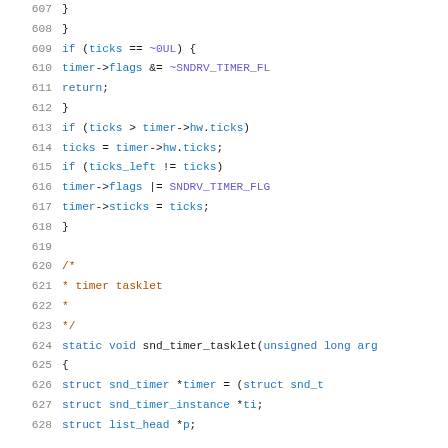Source code listing, lines 607-628, C code for snd_timer functions